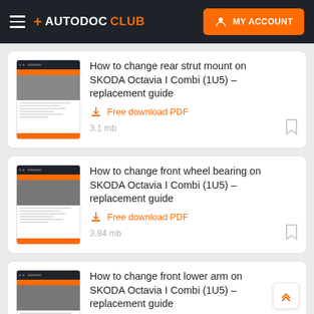+ AUTODOC CLUB  MY ACCOUNT
How to change rear strut mount on SKODA Octavia I Combi (1U5) – replacement guide | Free download PDF | 3.1 mb
How to change front wheel bearing on SKODA Octavia I Combi (1U5) – replacement guide | Free download PDF | 3.84 mb
How to change front lower arm on SKODA Octavia I Combi (1U5) – replacement guide | Free download PDF